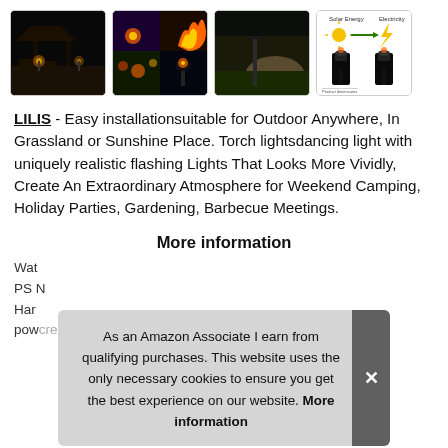[Figure (photo): Four product thumbnail images of solar torch lights showing outdoor nighttime scenes, multiple flame effects, a single torch light outdoors, and a product diagram showing solar energy to electricity conversion.]
LILIS - Easy installationsuitable for Outdoor Anywhere, In Grassland or Sunshine Place. Torch lightsdancing light with uniquely realistic flashing Lights That Looks More Vividly, Create An Extraordinary Atmosphere for Weekend Camping, Holiday Parties, Gardening, Barbecue Meetings.
More information
Wat
PS N
Har
powcreased solar lights charge during the Day And
As an Amazon Associate I earn from qualifying purchases. This website uses the only necessary cookies to ensure you get the best experience on our website. More information